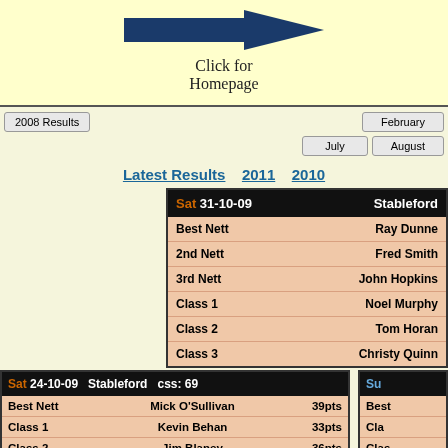[Figure (other): Back arrow button pointing left with 'Click for Homepage' text below]
Click for Homepage
2008 Results | February | July | August
Latest Results  2011  2010
| Sat 31-10-09 | Stableford |
| --- | --- |
| Best Nett | Ray Dunne |
| 2nd Nett | Fred Smith |
| 3rd Nett | John Hopkins |
| Class 1 | Noel Murphy |
| Class 2 | Tom Horan |
| Class 3 | Christy Quinn |
| Sat 24-10-09 | Stableford | css: 69 |
| --- | --- | --- |
| Best Nett | Mick O'Sullivan | 39pts |
| Class 1 | Kevin Behan | 33pts |
| Class 2 | Jim Blaney | 36pts |